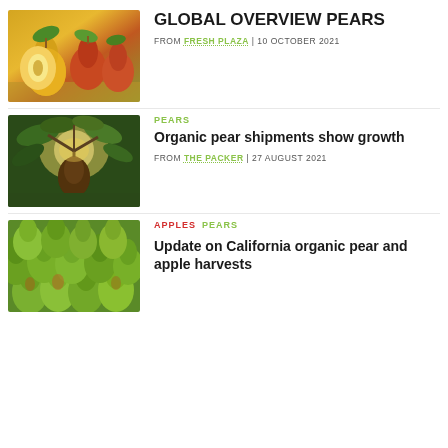[Figure (photo): Red and yellow pears, one cut in half, on a wooden surface with green leaves]
GLOBAL OVERVIEW PEARS
FROM FRESH PLAZA | 10 OCTOBER 2021
[Figure (photo): Pear hanging on a tree branch with sunlight behind leaves]
PEARS
Organic pear shipments show growth
FROM THE PACKER | 27 AUGUST 2021
[Figure (photo): Green pears clustered together]
APPLES  PEARS
Update on California organic pear and apple harvests